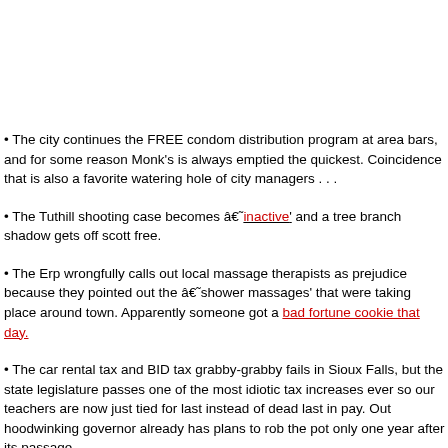• The city continues the FREE condom distribution program at area bars, and for some reason Monk's is always emptied the quickest. Coincidence that is also a favorite watering hole of city managers . . .
• The Tuthill shooting case becomes â€˜inactive' and a tree branch shadow gets off scott free.
• The Erp wrongfully calls out local massage therapists as prejudice because they pointed out the â€˜shower massages' that were taking place around town. Apparently someone got a bad fortune cookie that day.
• The car rental tax and BID tax grabby-grabby fails in Sioux Falls, but the state legislature passes one of the most idiotic tax increases ever so our teachers are now just tied for last instead of dead last in pay. Out hoodwinking governor already has plans to rob the pot only one year after its passage.